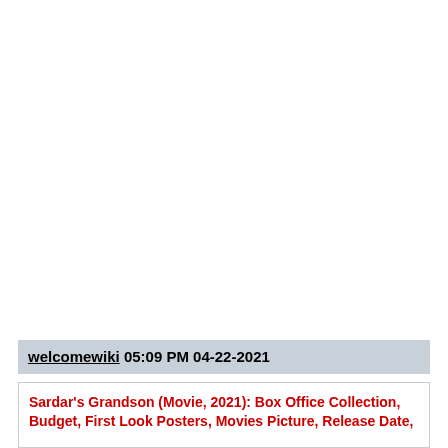welcomewiki 05:09 PM 04-22-2021
Sardar's Grandson (Movie, 2021): Box Office Collection, Budget, First Look Posters, Movies Picture, Release Date,